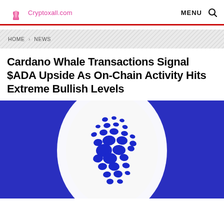Cryptoxall.com   MENU 🔍
HOME > NEWS
Cardano Whale Transactions Signal $ADA Upside As On-Chain Activity Hits Extreme Bullish Levels
[Figure (photo): Cardano (ADA) logo — white oval coin with blue dot pattern on a dark blue background]